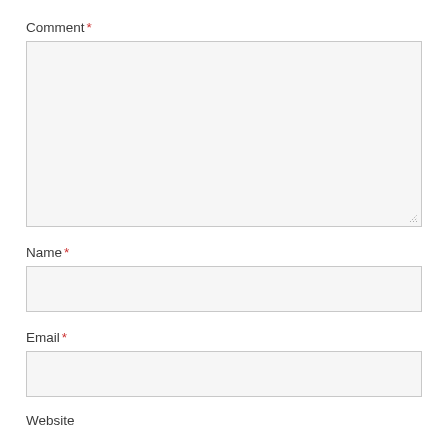Comment *
[Figure (other): Large textarea input box for comment, light gray background with border and resize handle in bottom-right corner]
Name *
[Figure (other): Single-line input box for name, light gray background with border]
Email *
[Figure (other): Single-line input box for email, light gray background with border]
Website